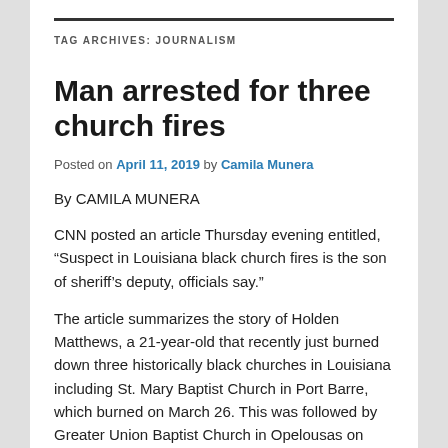TAG ARCHIVES: JOURNALISM
Man arrested for three church fires
Posted on April 11, 2019 by Camila Munera
By CAMILA MUNERA
CNN posted an article Thursday evening entitled, “Suspect in Louisiana black church fires is the son of sheriff’s deputy, officials say.”
The article summarizes the story of Holden Matthews, a 21-year-old that recently just burned down three historically black churches in Louisiana including St. Mary Baptist Church in Port Barre, which burned on March 26. This was followed by Greater Union Baptist Church in Opelousas on April 2 and, two days later, Mount Pleasant